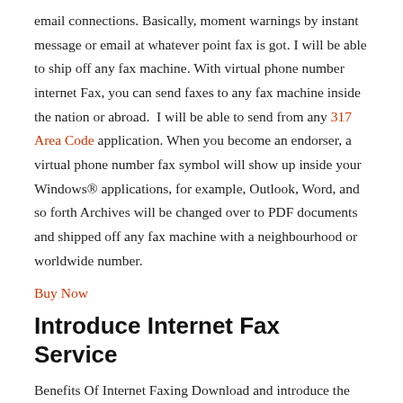email connections. Basically, moment warnings by instant message or email at whatever point fax is got. I will be able to ship off any fax machine. With virtual phone number internet Fax, you can send faxes to any fax machine inside the nation or abroad. I will be able to send from any 317 Area Code application. When you become an endorser, a virtual phone number fax symbol will show up inside your Windows® applications, for example, Outlook, Word, and so forth Archives will be changed over to PDF documents and shipped off any fax machine with a neighbourhood or worldwide number.
Buy Now
Introduce Internet Fax Service
Benefits Of Internet Faxing Download and introduce the free virtual phone number for Desktop. Windows clients can likewise profit by the coordination between Microsoft Outlook